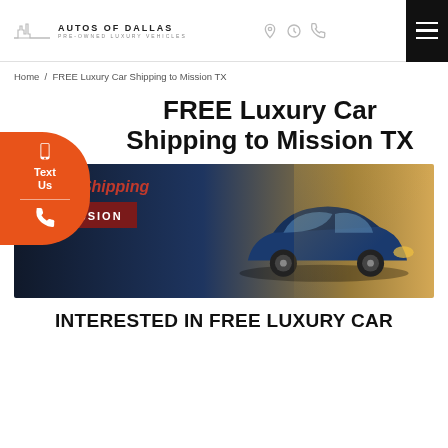[Figure (logo): Autos of Dallas pre-owned luxury vehicles logo with city skyline icon]
Home / FREE Luxury Car Shipping to Mission TX
FREE Luxury Car Shipping to Mission TX
[Figure (photo): Banner image of a blue luxury sedan with text 'Get FREE Shipping TO MISSION' overlaid on a dark red background panel]
INTERESTED IN FREE LUXURY CAR